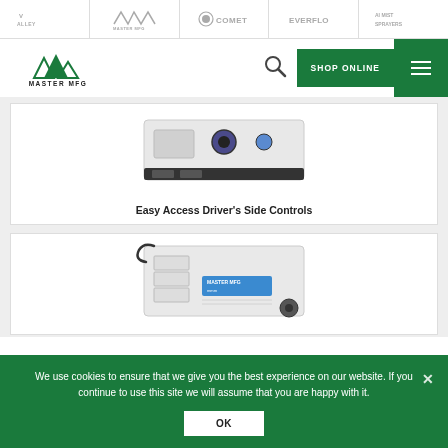Valley Industries | Master MFG | Comet | Everflo | AI Mist Sprayers
[Figure (logo): Master MFG logo with mountain-peak icon and company name]
[Figure (photo): Close-up photo of easy access driver's side controls on a sprayer unit]
Easy Access Driver's Side Controls
[Figure (photo): Close-up photo of a sprayer unit with Master MFG branding label visible]
We use cookies to ensure that we give you the best experience on our website. If you continue to use this site we will assume that you are happy with it.